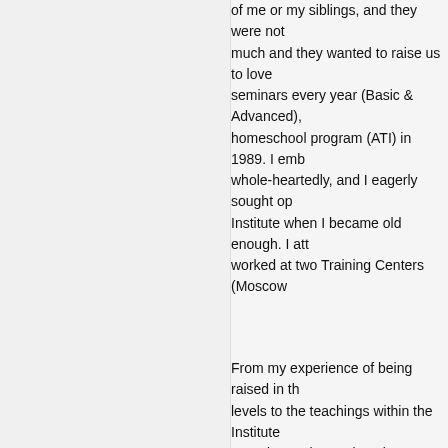of me or my siblings, and they were not much and they wanted to raise us to love seminars every year (Basic & Advanced), homeschool program (ATI) in 1989. I emb whole-heartedly, and I eagerly sought op Institute when I became old enough. I att worked at two Training Centers (Moscow
From my experience of being raised in th levels to the teachings within the Institute attend a Basic Seminar, it's very possible only positive experiences. But the deepe (attending Advanced Seminars, and then programs) the more problems begin to su parents sent their children to Training Ce extreme teachings their children would re specifically told not to tell their parents a home. Staff members were posted by the home, even for adult students over the a
In the deeper parts of the program, what harmless "Basic Principles" soon become enforced in the name of "Scripture." For